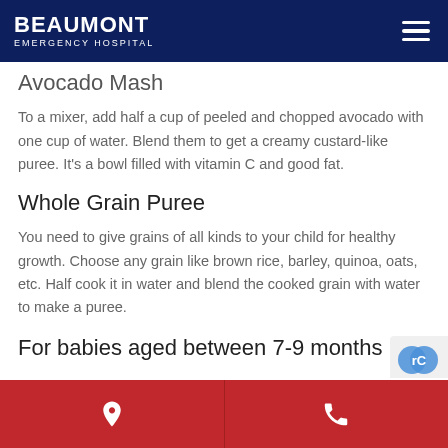BEAUMONT EMERGENCY HOSPITAL
Avocado Mash
To a mixer, add half a cup of peeled and chopped avocado with one cup of water. Blend them to get a creamy custard-like puree. It's a bowl filled with vitamin C and good fat.
Whole Grain Puree
You need to give grains of all kinds to your child for healthy growth. Choose any grain like brown rice, barley, quinoa, oats, etc. Half cook it in water and blend the cooked grain with water to make a puree.
For babies aged between 7-9 months
Location | Phone